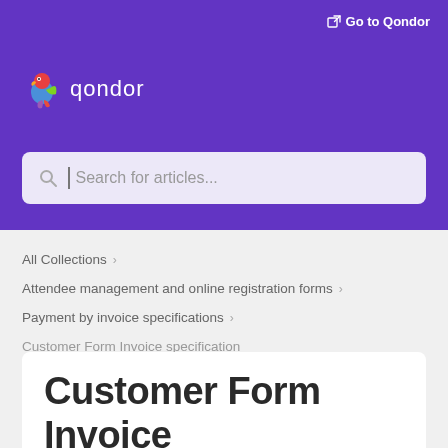Go to Qondor
[Figure (logo): Qondor logo with colorful bird and white text 'qondor' on purple background]
Search for articles...
All Collections >
Attendee management and online registration forms >
Payment by invoice specifications >
Customer Form Invoice specification
Customer Form Invoice specification